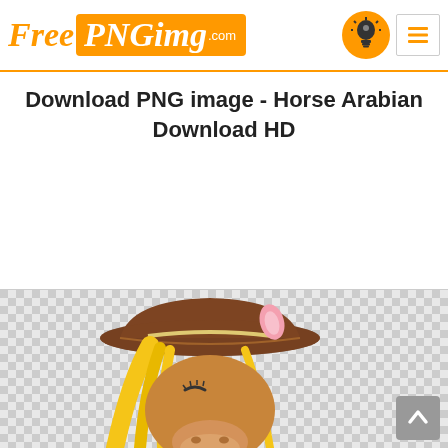FreePNGimg.com
Download PNG image - Horse Arabian Download HD
[Figure (illustration): A cartoon horse (pony) wearing a brown cowboy hat with yellow/blonde hair, pink ear visible, on a checkered transparent background. A gray scroll-to-top button with an upward arrow is in the bottom-right corner.]